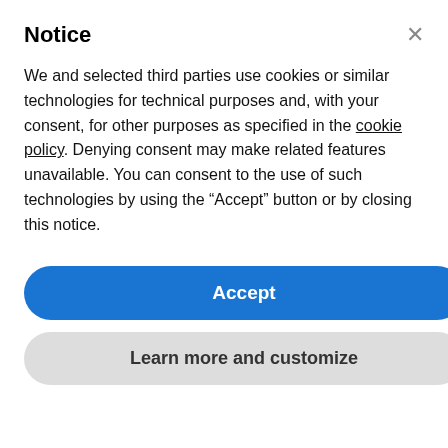Notice
We and selected third parties use cookies or similar technologies for technical purposes and, with your consent, for other purposes as specified in the cookie policy. Denying consent may make related features unavailable. You can consent to the use of such technologies by using the “Accept” button or by closing this notice.
Accept
Learn more and customize
credit card, and/or orders that use the same billing and/or shipping address. In the event that we make a change to or cancel an order, we may attempt to notify you by contacting the e-mail and/or billing address/phone number provided at the time the order was made. We reserve the right to limit or prohibit orders that, in our